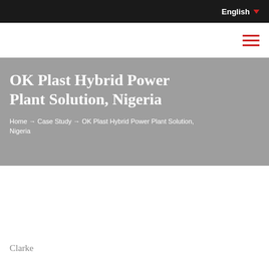English
OK Plast Hybrid Power Plant Solution, Nigeria
Home → Case Study → OK Plast Hybrid Power Plant Solution, Nigeria
Clarke